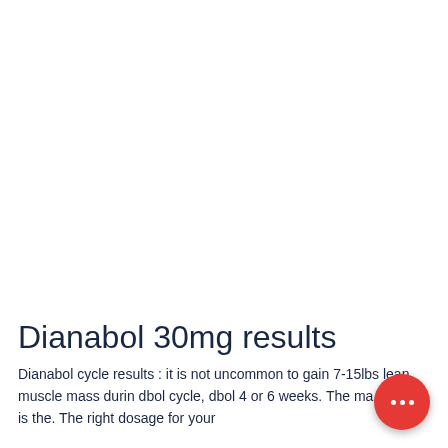Dianabol 30mg results
Dianabol cycle results : it is not uncommon to gain 7-15lbs lean muscle mass during a dbol cycle, dbol 4 or 6 weeks. The main benefit is the. The right dosage for your